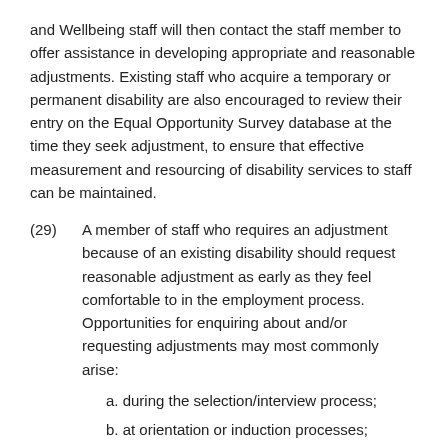and Wellbeing staff will then contact the staff member to offer assistance in developing appropriate and reasonable adjustments. Existing staff who acquire a temporary or permanent disability are also encouraged to review their entry on the Equal Opportunity Survey database at the time they seek adjustment, to ensure that effective measurement and resourcing of disability services to staff can be maintained.
(29) A member of staff who requires an adjustment because of an existing disability should request reasonable adjustment as early as they feel comfortable to in the employment process. Opportunities for enquiring about and/or requesting adjustments may most commonly arise:
a. during the selection/interview process;
b. at orientation or induction processes;
c. when planning for organisational change;